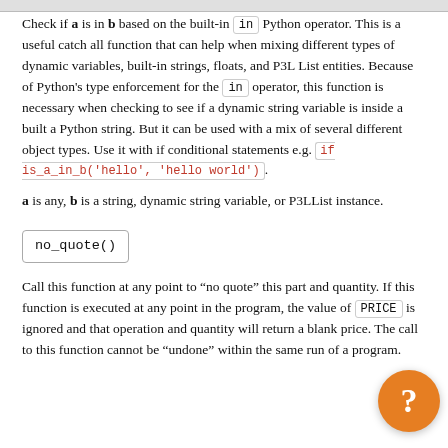Check if a is in b based on the built-in `in` Python operator. This is a useful catch all function that can help when mixing different types of dynamic variables, built-in strings, floats, and P3L List entities. Because of Python's type enforcement for the `in` operator, this function is necessary when checking to see if a dynamic string variable is inside a built a Python string. But it can be used with a mix of several different object types. Use it with if conditional statements e.g. if is_a_in_b('hello', 'hello world').
a is any, b is a string, dynamic string variable, or P3LList instance.
no_quote()
Call this function at any point to “no quote” this part and quantity. If this function is executed at any point in the program, the value of PRICE is ignored and that operation and quantity will return a blank price. The call to this function cannot be “undone” within the same run of a program.